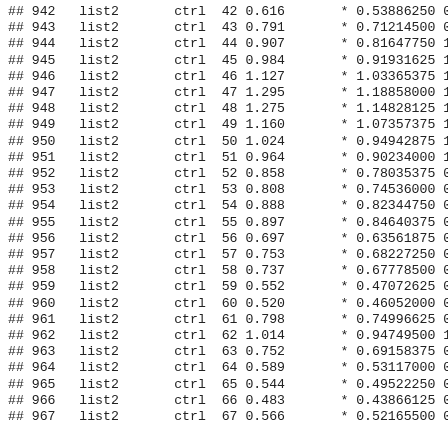| ## | row | group | cond | x | y |  | fit | ... |
| --- | --- | --- | --- | --- | --- | --- | --- | --- |
| 942 | list2 | ctrl | 42 | 0.616 | * | 0.53886250 | 0. |
| 943 | list2 | ctrl | 43 | 0.791 | * | 0.71214500 | 0. |
| 944 | list2 | ctrl | 44 | 0.907 | * | 0.81647750 | 1. |
| 945 | list2 | ctrl | 45 | 0.984 | * | 0.91931625 | 1. |
| 946 | list2 | ctrl | 46 | 1.127 | * | 1.03365375 | 1. |
| 947 | list2 | ctrl | 47 | 1.295 | * | 1.18858000 | 1. |
| 948 | list2 | ctrl | 48 | 1.275 | * | 1.14828125 | 1. |
| 949 | list2 | ctrl | 49 | 1.160 | * | 1.07357375 | 1. |
| 950 | list2 | ctrl | 50 | 1.024 | * | 0.94942875 | 1. |
| 951 | list2 | ctrl | 51 | 0.964 | * | 0.90234000 | 1. |
| 952 | list2 | ctrl | 52 | 0.858 | * | 0.78035375 | 0. |
| 953 | list2 | ctrl | 53 | 0.808 | * | 0.74536000 | 0. |
| 954 | list2 | ctrl | 54 | 0.888 | * | 0.82344750 | 0. |
| 955 | list2 | ctrl | 55 | 0.897 | * | 0.84640375 | 0. |
| 956 | list2 | ctrl | 56 | 0.697 | * | 0.63561875 | 0. |
| 957 | list2 | ctrl | 57 | 0.753 | * | 0.68227250 | 0. |
| 958 | list2 | ctrl | 58 | 0.737 | * | 0.67778500 | 0. |
| 959 | list2 | ctrl | 59 | 0.552 | * | 0.47072625 | 0. |
| 960 | list2 | ctrl | 60 | 0.520 | * | 0.46052000 | 0. |
| 961 | list2 | ctrl | 61 | 0.798 | * | 0.74996625 | 0. |
| 962 | list2 | ctrl | 62 | 1.014 | * | 0.94749500 | 1. |
| 963 | list2 | ctrl | 63 | 0.752 | * | 0.69158375 | 0. |
| 964 | list2 | ctrl | 64 | 0.589 | * | 0.53117000 | 0. |
| 965 | list2 | ctrl | 65 | 0.544 | * | 0.49522250 | 0. |
| 966 | list2 | ctrl | 66 | 0.483 | * | 0.43866125 | 0. |
| 967 | list2 | ctrl | 67 | 0.566 | * | 0.52165500 | 0. |